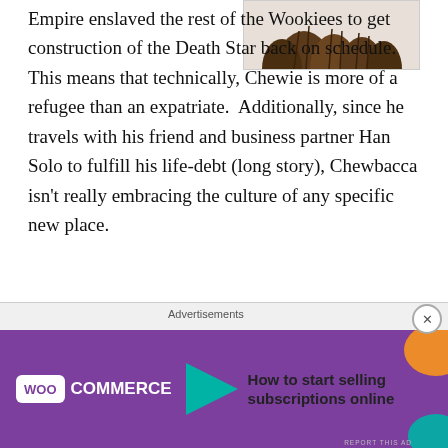[Figure (photo): Partial image of a Wookiee (Chewbacca) showing brown fur, cropped at top of page]
Empire enslaved the rest of the Wookiees to get construction of the Death Star back on schedule.  This means that technically, Chewie is more of a refugee than an expatriate.  Additionally, since he travels with his friend and business partner Han Solo to fulfill his life-debt (long story), Chewbacca isn't really embracing the culture of any specific new place.
While I would love to say that Babylon 5 is full of expatriate characters, it really only has two:  Sinclair and Sheridan.  Both of them go to live on Minbar at
[Figure (advertisement): WooCommerce advertisement: purple background with WooCommerce logo and arrow, text 'How to start selling subscriptions online', with orange and teal decorative blobs]